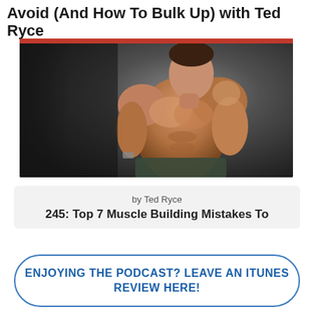Avoid (And How To Bulk Up) with Ted Ryce
[Figure (photo): Muscular shirtless man posing against a dark background, with a red bar at the top of the image]
by Ted Ryce
245: Top 7 Muscle Building Mistakes To
ENJOYING THE PODCAST? LEAVE AN ITUNES REVIEW HERE!